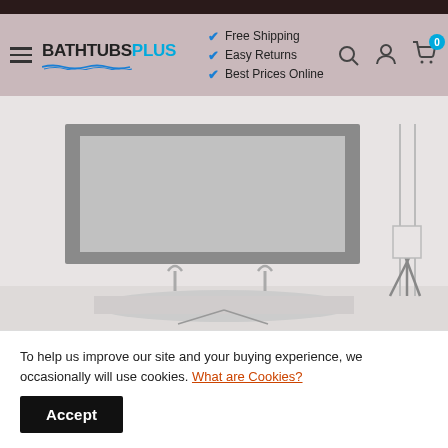BATHTUBS PLUS — Free Shipping, Easy Returns, Best Prices Online
[Figure (screenshot): Bathroom product page showing a framed rectangular mirror mounted above a double-sink vanity with two faucets, white walls, and a decorative floor lamp stand on the right.]
To help us improve our site and your buying experience, we occasionally will use cookies. What are Cookies?
Accept